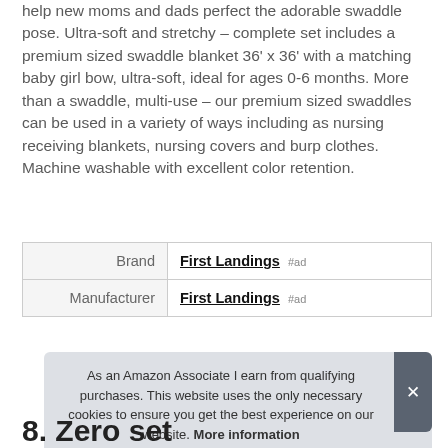help new moms and dads perfect the adorable swaddle pose. Ultra-soft and stretchy – complete set includes a premium sized swaddle blanket 36' x 36' with a matching baby girl bow, ultra-soft, ideal for ages 0-6 months. More than a swaddle, multi-use – our premium sized swaddles can be used in a variety of ways including as nursing receiving blankets, nursing covers and burp clothes. Machine washable with excellent color retention.
|  |  |
| --- | --- |
| Brand | First Landings #ad |
| Manufacturer | First Landings #ad |
As an Amazon Associate I earn from qualifying purchases. This website uses the only necessary cookies to ensure you get the best experience on our website. More information
8. Zero set